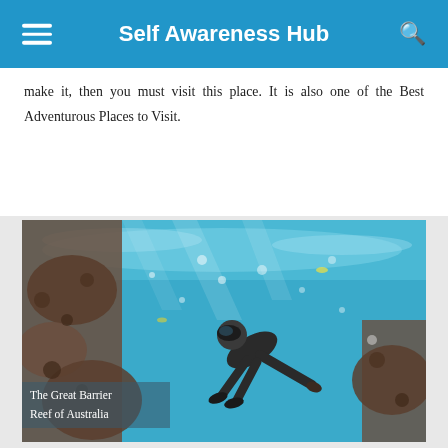Self Awareness Hub
make it, then you must visit this place. It is also one of the Best Adventurous Places to Visit.
[Figure (photo): Underwater photo of a snorkeler/diver swimming near coral reef with bright turquoise water. Caption overlay reads: The Great Barrier Reef of Australia]